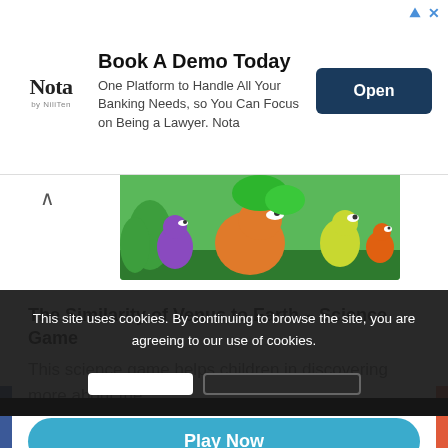[Figure (screenshot): Advertisement banner for Nota banking platform with logo, description text, and Open button]
[Figure (illustration): Colorful cartoon dinosaurs in a jungle/forest setting - game artwork]
The Similarity of Venus to Earth – Science Game
This science game helps children in discovering more about the…
Play Now
This site uses cookies. By continuing to browse the site, you are agreeing to our use of cookies.
[Figure (screenshot): Social sharing bar with Facebook, Google+, Twitter, WhatsApp, Blogger, Pinterest, Email, and More buttons]